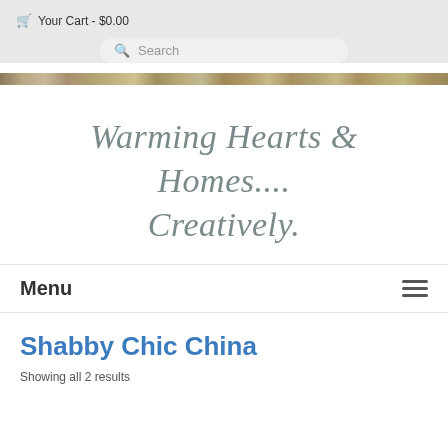Your Cart - $0.00
Search
[Figure (illustration): Decorative banner strip with floral/nature pattern in earth tones]
Warming Hearts & Homes.... Creatively.
Menu
Shabby Chic China
Showing all 2 results